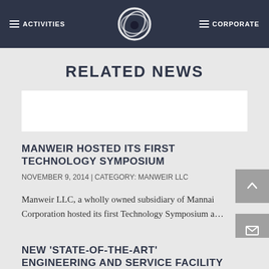ACTIVITIES | [logo] | CORPORATE
RELATED NEWS
[Figure (photo): White image placeholder box]
MANWEIR HOSTED ITS FIRST TECHNOLOGY SYMPOSIUM
NOVEMBER 9, 2014 | CATEGORY: MANWEIR LLC
Manweir LLC, a wholly owned subsidiary of Mannai Corporation hosted its first Technology Symposium a...
NEW 'STATE-OF-THE-ART' ENGINEERING AND SERVICE FACILITY